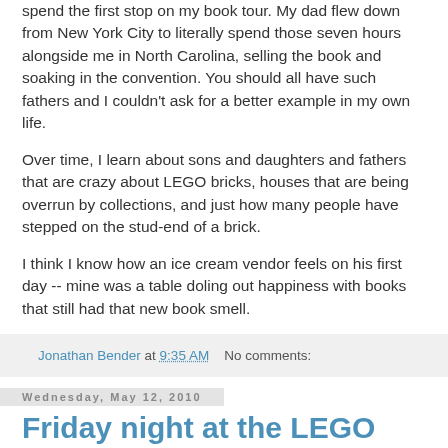spend the first stop on my book tour. My dad flew down from New York City to literally spend those seven hours alongside me in North Carolina, selling the book and soaking in the convention. You should all have such fathers and I couldn't ask for a better example in my own life.
Over time, I learn about sons and daughters and fathers that are crazy about LEGO bricks, houses that are being overrun by collections, and just how many people have stepped on the stud-end of a brick.
I think I know how an ice cream vendor feels on his first day -- mine was a table doling out happiness with books that still had that new book smell.
Jonathan Bender at 9:35 AM   No comments:
Wednesday, May 12, 2010
Friday night at the LEGO store
[Figure (photo): Bottom portion of a LEGO store related image, showing golden/yellow coloring at the bottom of the page]